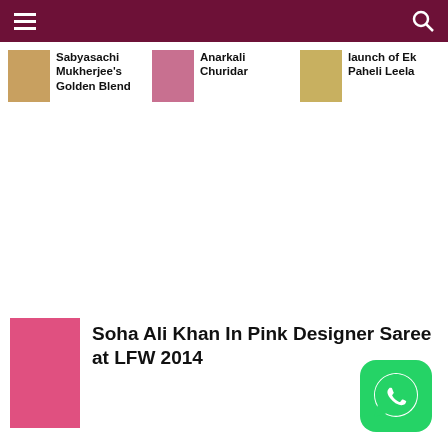Sabyasachi Mukherjee's Golden Blend
Anarkali Churidar
launch of Ek Paheli Leela
Soha Ali Khan In Pink Designer Saree at LFW 2014
[Figure (illustration): WhatsApp button icon - green rounded square with white WhatsApp logo]